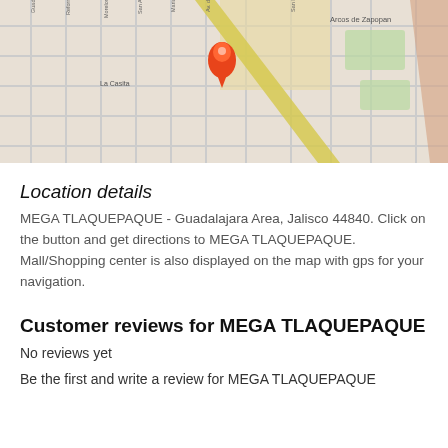[Figure (map): Street map of Guadalajara area showing MEGA TLAQUEPAQUE location with a red map pin marker. Streets visible include Arcos de Zapopan and surrounding grid. Map shows road network with a yellow highlighted diagonal road.]
Location details
MEGA TLAQUEPAQUE - Guadalajara Area, Jalisco 44840. Click on the button and get directions to MEGA TLAQUEPAQUE. Mall/Shopping center is also displayed on the map with gps for your navigation.
Customer reviews for MEGA TLAQUEPAQUE
No reviews yet
Be the first and write a review for MEGA TLAQUEPAQUE